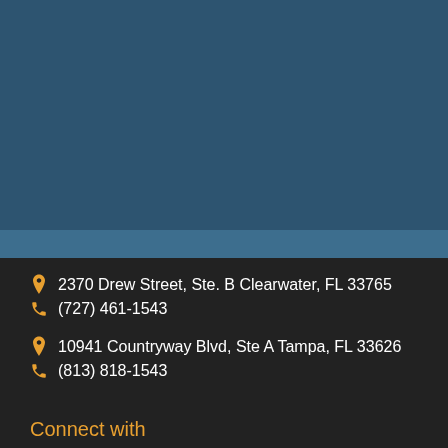[Figure (other): Dark teal/blue background section occupying the top half of the page]
2370 Drew Street, Ste. B Clearwater, FL 33765
(727) 461-1543
10941 Countryway Blvd, Ste A Tampa, FL 33626
(813) 818-1543
Connect with